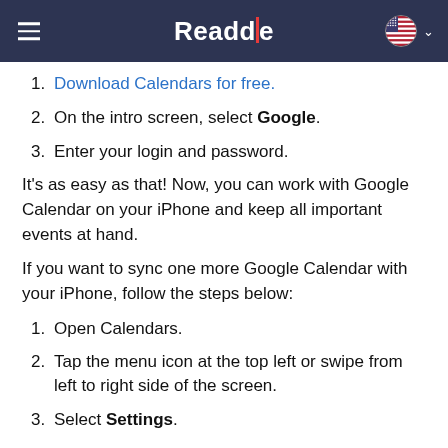Readdle
Download Calendars for free.
On the intro screen, select Google.
Enter your login and password.
It's as easy as that! Now, you can work with Google Calendar on your iPhone and keep all important events at hand.
If you want to sync one more Google Calendar with your iPhone, follow the steps below:
Open Calendars.
Tap the menu icon at the top left or swipe from left to right side of the screen.
Select Settings.